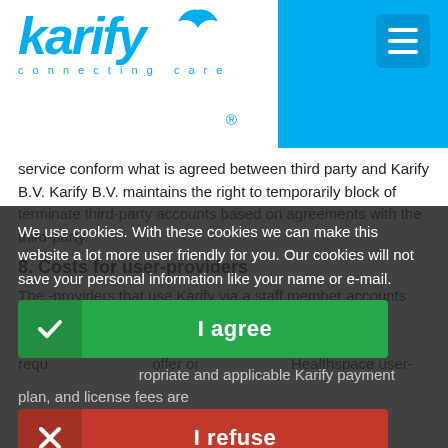[Figure (logo): Karify logo with bird icon, tagline 'connecting care' and registered trademark symbol, with blue header bar and hamburger menu button]
service conform what is agreed between third party and Karify B.V. Karify B.V. maintains the right to temporarily block of terminate third-party accounts based on agreements with the third-party.
8. Costs for user-providers
We use cookies. With these cookies we can make this website a lot more user friendly for you. Our cookies will not save your personal information like your name or e-mail.
-providers that use Karify via a staff member accounts provided by a care provider.
8.1 In de... providers are requ... offer or ...healthspace user- ... ropriate and applicable Karify payment plan, and license fees are
I agree
I refuse